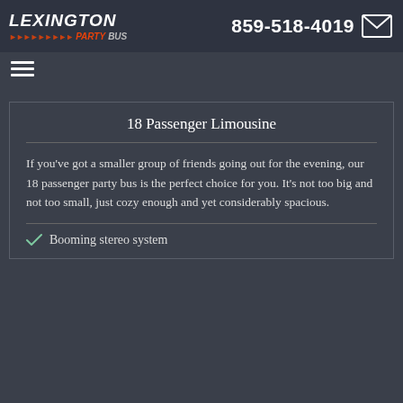Lexington Party Bus | 859-518-4019
[Figure (logo): Lexington Party Bus logo with stylized italic text and arrow graphics]
18 Passenger Limousine
If you've got a smaller group of friends going out for the evening, our 18 passenger party bus is the perfect choice for you. It's not too big and not too small, just cozy enough and yet considerably spacious.
Booming stereo system